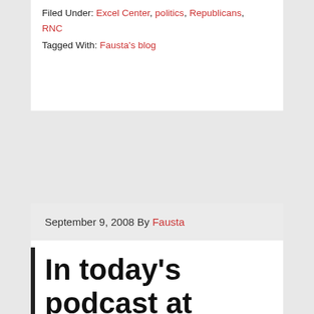Filed Under: Excel Center, politics, Republicans, RNC
Tagged With: Fausta's blog
September 9, 2008 By Fausta
In today's podcast at 10AM Eastern: The anarchists at the RNC